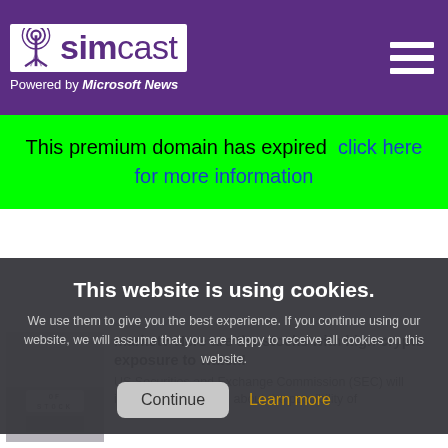simcast – Powered by Microsoft News
This premium domain has expired  click here for more information
This website is using cookies.
We use them to give you the best experience. If you continue using our website, we will assume that you are happy to receive all cookies on this website.
Continue   Learn more
market? Here are the stocks with high crypto exposure to watch!
US Securities and Exchange Commission (SEC) will investigate Coinbase about the possibility of